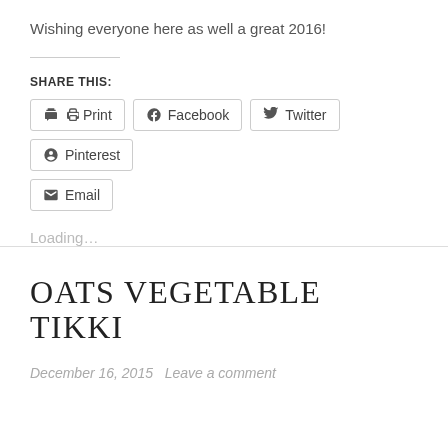Wishing everyone here as well a great 2016!
SHARE THIS:
Print  Facebook  Twitter  Pinterest  Email
Loading...
OATS VEGETABLE TIKKI
December 16, 2015   Leave a comment